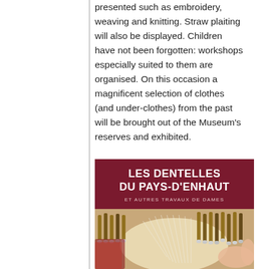presented such as embroidery, weaving and knitting. Straw plaiting will also be displayed. Children have not been forgotten: workshops especially suited to them are organised. On this occasion a magnificent selection of clothes (and under-clothes) from the past will be brought out of the Museum's reserves and exhibited.
[Figure (illustration): Poster for 'Les Dentelles du Pays-d'Enhaut et autres travaux de dames' exhibition, with dark red/maroon background, white bold title text, and a photograph below showing lace-making bobbins and threads on a lace pillow with hands working.]